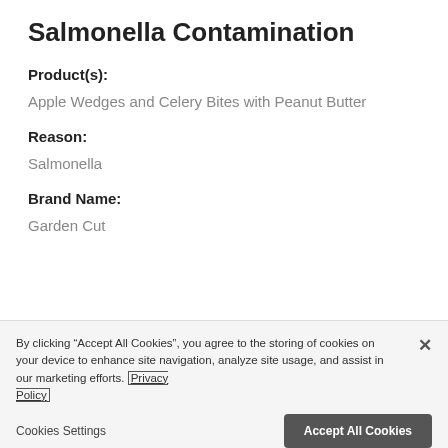Salmonella Contamination
Product(s):
Apple Wedges and Celery Bites with Peanut Butter
Reason:
Salmonella
Brand Name:
Garden Cut
By clicking “Accept All Cookies”, you agree to the storing of cookies on your device to enhance site navigation, analyze site usage, and assist in our marketing efforts. Privacy Policy